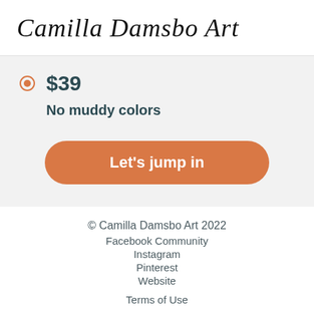Camilla Damsbo Art
$39
No muddy colors
Let's jump in
© Camilla Damsbo Art 2022
Facebook Community
Instagram
Pinterest
Website
Terms of Use